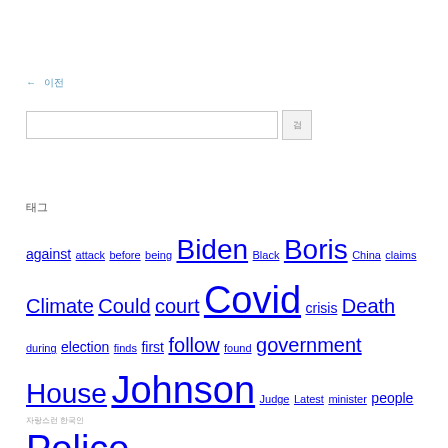← 이전
[Figure (screenshot): Search input box with a search button]
태그
against attack before being Biden Black Boris China claims Climate Could court Covid crisis Death during election finds first follow found government House Johnson Judge Latest minister people Police report rules Russia Russian school shooting Texas travel trial Trump Ukraine under vaccine warns Woman years
자랑스런 한국인